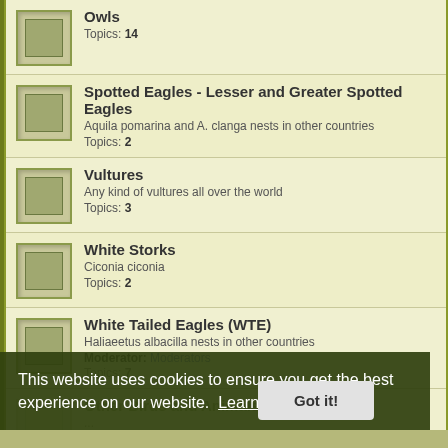Owls
Topics: 14
Spotted Eagles - Lesser and Greater Spotted Eagles
Aquila pomarina and A. clanga nests in other countries
Topics: 2
Vultures
Any kind of vultures all over the world
Topics: 3
White Storks
Ciconia ciconia
Topics: 2
White Tailed Eagles (WTE)
Haliaeetus albacilla nests in other countries
Moderator: Moderators
Topics: 7
Other Birds and Animals
...
Topics: 34
Camera Links
Links to other webcameras around the world
Topics: 1
This website uses cookies to ensure you get the best experience on our website. Learn more
Got it!